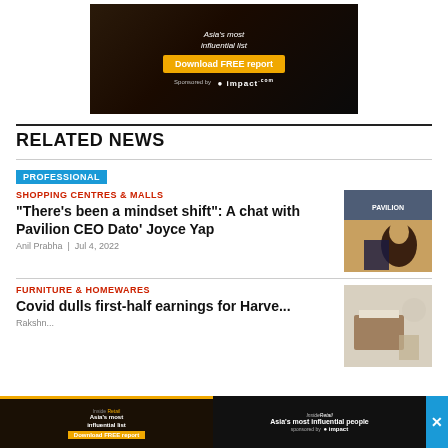[Figure (screenshot): Advertisement banner for Inside Retail Asia's most influential list — Download FREE report, Sponsored by impact.com]
RELATED NEWS
PROFESSIONAL
SHOPPING CENTRES & MALLS
“There’s been a mindset shift”: A chat with Pavilion CEO Dato’ Joyce Yap
Anil Prabha  |  Jul 4, 2022
[Figure (photo): Photo of Pavilion CEO Dato' Joyce Yap in front of Pavilion signage]
FURNITURE & HOMEWARES
Covid dulls first-half earnings for Harve...
Rakshn...
[Figure (screenshot): Bottom advertisement — Inside Retail Asia's most influential people, sponsored by impact.com, Download FREE report. With close X button.]